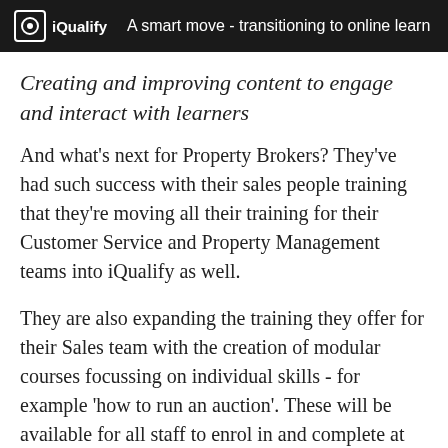iQualify   A smart move - transitioning to online learn
Creating and improving content to engage and interact with learners
And what's next for Property Brokers? They've had such success with their sales people training that they're moving all their training for their Customer Service and Property Management teams into iQualify as well.
They are also expanding the training they offer for their Sales team with the creation of modular courses focussing on individual skills - for example 'how to run an auction'. These will be available for all staff to enrol in and complete at any time, giving staff the opportunity to choose the skills they need and further